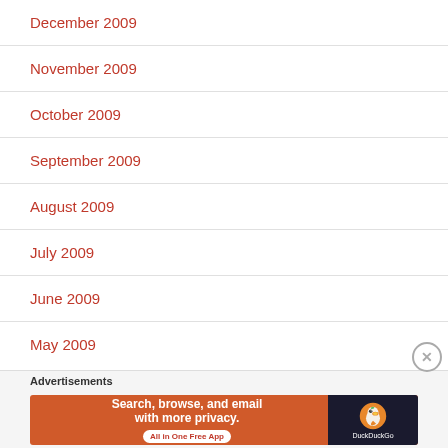December 2009
November 2009
October 2009
September 2009
August 2009
July 2009
June 2009
May 2009
Advertisements
[Figure (infographic): DuckDuckGo advertisement banner: 'Search, browse, and email with more privacy. All in One Free App' with DuckDuckGo logo on dark background]